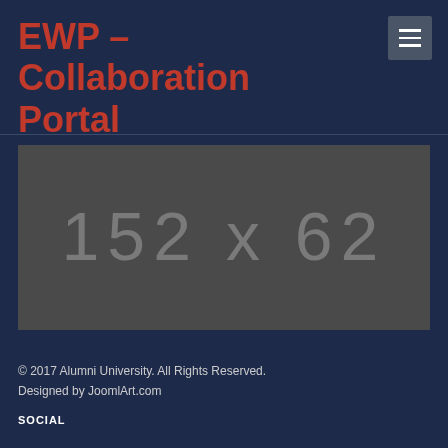EWP – Collaboration Portal
[Figure (other): Placeholder image showing dimensions 152x62]
© 2017 Alumni University. All Rights Reserved.
Designed by JoomlArt.com
SOCIAL